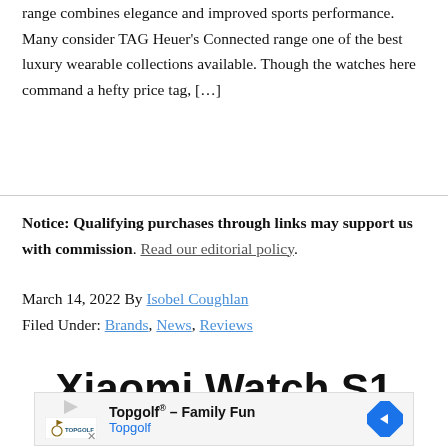range combines elegance and improved sports performance. Many consider TAG Heuer's Connected range one of the best luxury wearable collections available. Though the watches here command a hefty price tag, […]
Notice: Qualifying purchases through links may support us with commission. Read our editorial policy.
March 14, 2022 By Isobel Coughlan
Filed Under: Brands, News, Reviews
Xiaomi Watch S1
[Figure (other): Advertisement banner for Topgolf - Family Fun, showing Topgolf logo with a play button, text 'Topgolf® - Family Fun' and 'Topgolf', and a blue diamond-shaped navigation arrow icon.]